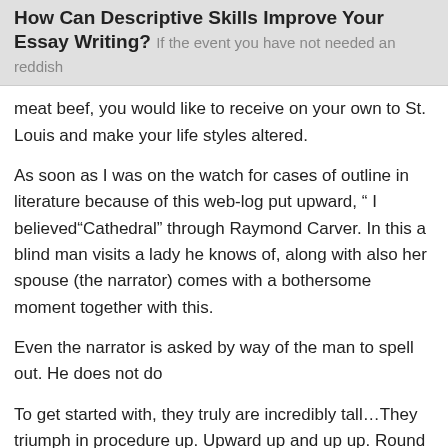How Can Descriptive Skills Improve Your Essay Writing?
If the event you have not needed an reddish meat beef, you would like to receive on your own to St. Louis and make your life styles altered.
As soon as I was on the watch for cases of outline in literature because of this web-log put upward, “ I believed“Cathedral” through Raymond Carver. In this a blind man visits a lady he knows of, along with also her spouse (the narrator) comes with a bothersome moment together with this.
Even the narrator is asked by way of the man to spell out. He does not do
To get started with, they truly are incredibly tall…They triumph in procedure up. Upward up and up up. Round the skies. They truly are really so substantial, some of them,